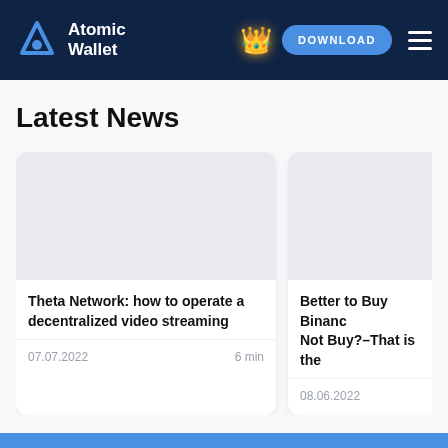Atomic Wallet | DOWNLOAD
Latest News
[Figure (screenshot): Blank image placeholder for Theta Network article]
Theta Network: how to operate a decentralized video streaming
07.07.2022   6 min
[Figure (screenshot): Blank image placeholder for Binance article]
Better to Buy Binance or Not Buy?–That is the
08.06.2022
Subscribe for News!